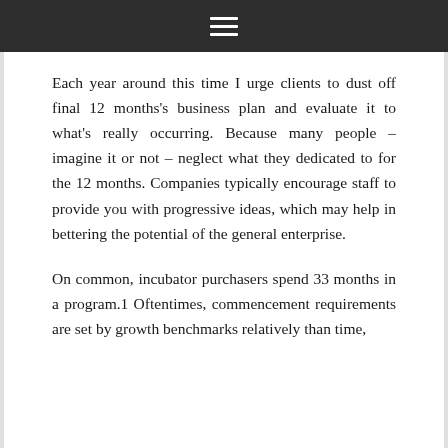☰
Each year around this time I urge clients to dust off final 12 months's business plan and evaluate it to what's really occurring. Because many people – imagine it or not – neglect what they dedicated to for the 12 months. Companies typically encourage staff to provide you with progressive ideas, which may help in bettering the potential of the general enterprise.
On common, incubator purchasers spend 33 months in a program.1 Oftentimes, commencement requirements are set by growth benchmarks relatively than time,